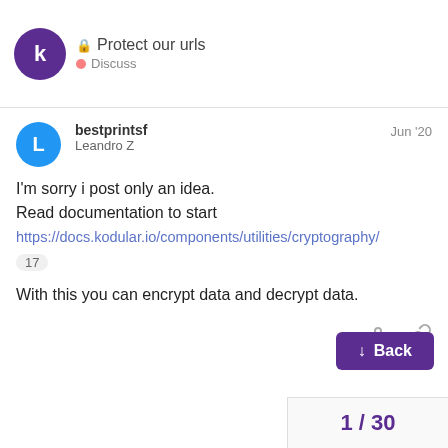🔒 Protect our urls — Discuss
bestprintsf
Leandro Z
Jun '20
I'm sorry i post only an idea.
Read documentation to start
https://docs.kodular.io/components/utilities/cryptography/
17
With this you can encrypt data and decrypt data.
netsolutions1
Muhammed Rafeeq
Premium User
Jun '20
I know about this component. But don't know to encrypt and decrypt.
1 / 30